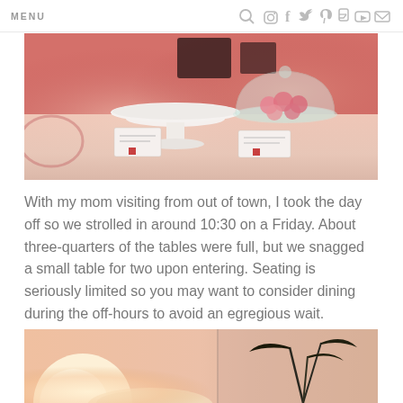MENU
[Figure (photo): Photo of a bakery/café counter with a white cake stand pedestal, a glass cloche containing macarons, and small price/label cards on a pink-lit surface.]
With my mom visiting from out of town, I took the day off so we strolled in around 10:30 on a Friday. About three-quarters of the tables were full, but we snagged a small table for two upon entering. Seating is seriously limited so you may want to consider dining during the off-hours to avoid an egregious wait.
[Figure (photo): Photo of café interior with warm peach/pink tones, a plant with dark leaves visible, and a bright light source at the lower left.]